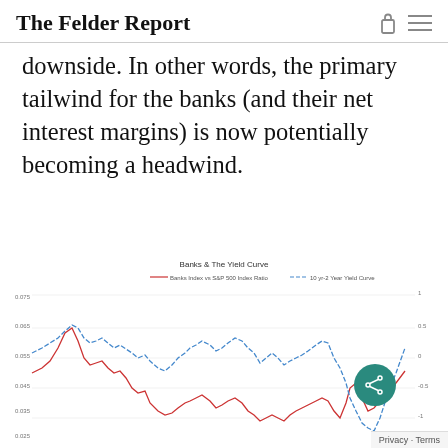The Felder Report
downside. In other words, the primary tailwind for the banks (and their net interest margins) is now potentially becoming a headwind.
[Figure (continuous-plot): Line chart showing two series over time: Banks Index vs S&P 500 Index Ratio (red line) and 10yr-2yr Yield Curve (blue line). Both series show a general decline over the period, with the yield curve dropping sharply on the right side of the chart.]